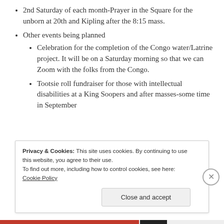2nd Saturday of each month-Prayer in the Square for the unborn at 20th and Kipling after the 8:15 mass.
Other events being planned
Celebration for the completion of the Congo water/Latrine project. It will be on a Saturday morning so that we can Zoom with the folks from the Congo.
Tootsie roll fundraiser for those with intellectual disabilities at a King Soopers and after masses-some time in September
Privacy & Cookies: This site uses cookies. By continuing to use this website, you agree to their use.
To find out more, including how to control cookies, see here: Cookie Policy
Close and accept